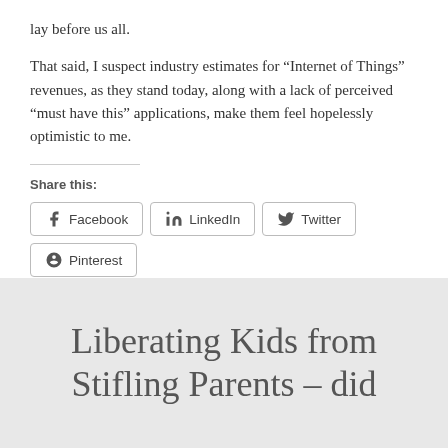lay before us all.
That said, I suspect industry estimates for “Internet of Things” revenues, as they stand today, along with a lack of perceived “must have this” applications, make them feel hopelessly optimistic to me.
Share this:
Facebook LinkedIn Twitter Pinterest Reddit Print
Liberating Kids from Stifling Parents – did